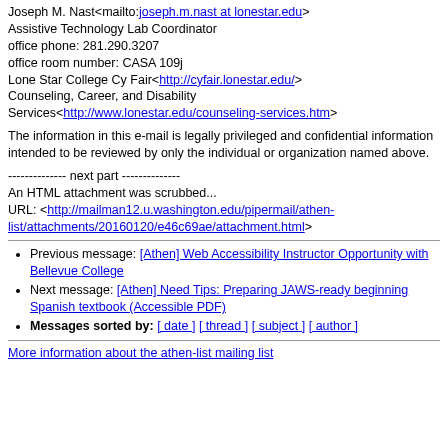Joseph M. Nast<mailto:joseph.m.nast at lonestar.edu>
Assistive Technology Lab Coordinator
office phone: 281.290.3207
office room number: CASA 109j
Lone Star College Cy Fair<http://cyfair.lonestar.edu/>
Counseling, Career, and Disability Services<http://www.lonestar.edu/counseling-services.htm>
The information in this e-mail is legally privileged and confidential information intended to be reviewed by only the individual or organization named above.
-------------- next part --------------
An HTML attachment was scrubbed...
URL: <http://mailman12.u.washington.edu/pipermail/athen-list/attachments/20160120/e46c69ae/attachment.html>
Previous message: [Athen] Web Accessibility Instructor Opportunity with Bellevue College
Next message: [Athen] Need Tips: Preparing JAWS-ready beginning Spanish textbook (Accessible PDF)
Messages sorted by: [ date ] [ thread ] [ subject ] [ author ]
More information about the athen-list mailing list